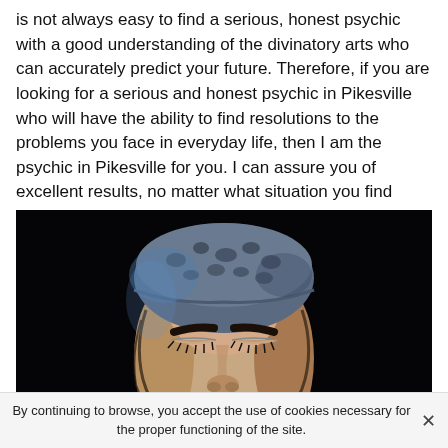is not always easy to find a serious, honest psychic with a good understanding of the divinatory arts who can accurately predict your future. Therefore, if you are looking for a serious and honest psychic in Pikesville who will have the ability to find resolutions to the problems you face in everyday life, then I am the psychic in Pikesville for you. I can assure you of excellent results, no matter what situation you find yourself in.
[Figure (photo): A person with closed eyes wearing a leopard-print bandana/headwrap, photographed from the nose up against a dark black background. Only the upper portion of the face is visible.]
By continuing to browse, you accept the use of cookies necessary for the proper functioning of the site.